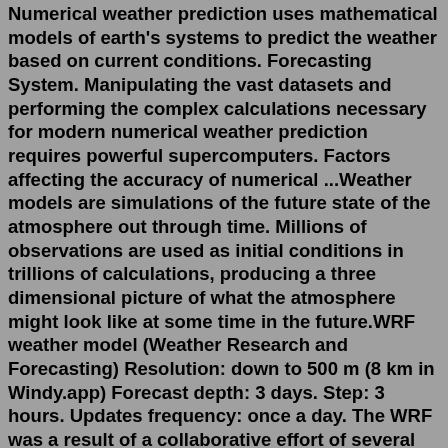Numerical weather prediction uses mathematical models of earth's systems to predict the weather based on current conditions. Forecasting System. Manipulating the vast datasets and performing the complex calculations necessary for modern numerical weather prediction requires powerful supercomputers. Factors affecting the accuracy of numerical ...Weather models are simulations of the future state of the atmosphere out through time. Millions of observations are used as initial conditions in trillions of calculations, producing a three dimensional picture of what the atmosphere might look like at some time in the future.WRF weather model (Weather Research and Forecasting) Resolution: down to 500 m (8 km in Windy.app) Forecast depth: 3 days. Step: 3 hours. Updates frequency: once a day. The WRF was a result of a collaborative effort of several agencies and laboratories across the globe in the 1980s.The result: ECMWF is arguably the best weather model on the